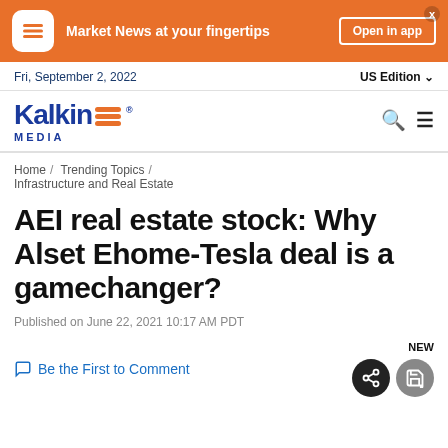[Figure (infographic): Orange banner ad for Kalkine Media app: icon on left, 'Market News at your fingertips' text, 'Open in app' button on right, close X button top right]
Fri, September 2, 2022   US Edition
[Figure (logo): Kalkine Media logo in blue with orange hamburger icon]
Home / Trending Topics / Infrastructure and Real Estate
AEI real estate stock: Why Alset Ehome-Tesla deal is a gamechanger?
Published on June 22, 2021 10:17 AM PDT
Be the First to Comment